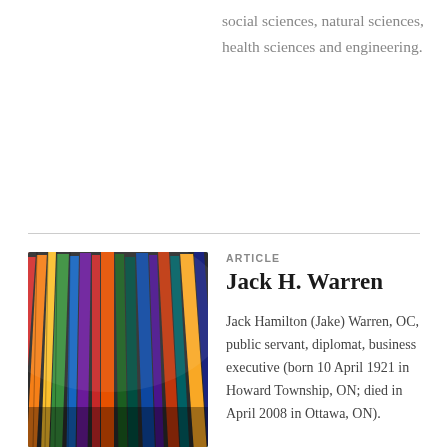social sciences, natural sciences, health sciences and engineering.
[Figure (photo): Close-up photo of colorful book spines arranged on a shelf, viewed at a slight angle]
ARTICLE
Jack H. Warren
Jack Hamilton (Jake) Warren, OC, public servant, diplomat, business executive (born 10 April 1921 in Howard Township, ON; died in April 2008 in Ottawa, ON).